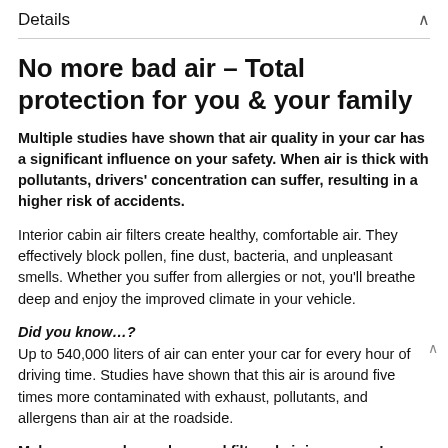Details
No more bad air – Total protection for you & your family
Multiple studies have shown that air quality in your car has a significant influence on your safety. When air is thick with pollutants, drivers' concentration can suffer, resulting in a higher risk of accidents.
Interior cabin air filters create healthy, comfortable air. They effectively block pollen, fine dust, bacteria, and unpleasant smells. Whether you suffer from allergies or not, you'll breathe deep and enjoy the improved climate in your vehicle.
Did you know...?
Up to 540,000 liters of air can enter your car for every hour of driving time. Studies have shown that this air is around five times more contaminated with exhaust, pollutants, and allergens than air at the roadside.
Make sure you have clean and filtered air in your car!
Blue.care cabin air filters are available for all leading vehicle